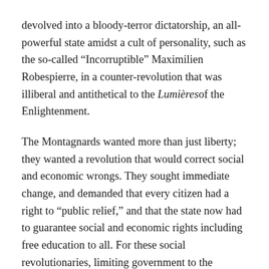devolved into a bloody-terror dictatorship, an all-powerful state amidst a cult of personality, such as the so-called “Incorruptible” Maximilien Robespierre, in a counter-revolution that was illiberal and antithetical to the Lumières of the Enlightenment.
The Montagnards wanted more than just liberty; they wanted a revolution that would correct social and economic wrongs. They sought immediate change, and demanded that every citizen had a right to “public relief,” and that the state now had to guarantee social and economic rights including free education to all. For these social revolutionaries, limiting government to the protection of individual rights would hamper the state’s ability to solve social and economic inequalities. Although the abstract concept of equality was bourgeois in nature, the Montagnards began to view government as the equalizing force to implement